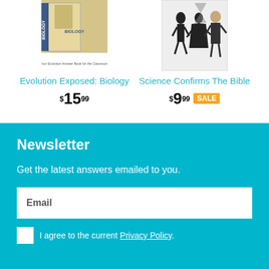[Figure (photo): Book cover for Evolution Exposed: Biology]
Evolution Exposed: Biology
$15.99
[Figure (photo): DVD/book cover for Science Confirms The Bible with silhouette figures and man in suit]
Science Confirms The Bible
$9.99 SALE
Newsletter
Get the latest answers emailed to you.
Email
I agree to the current Privacy Policy.